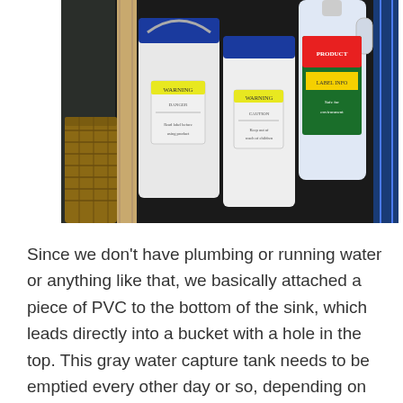[Figure (photo): Indoor photograph showing several white plastic buckets/containers with blue lids and warning labels, a wicker basket on the left, a wooden board, and what appears to be a blue rack on the right. The floor is dark/black.]
Since we don't have plumbing or running water or anything like that, we basically attached a piece of PVC to the bottom of the sink, which leads directly into a bucket with a hole in the top. This gray water capture tank needs to be emptied every other day or so, depending on how much we're using it. We make a point to only use biodegradable soaps so we can just dump